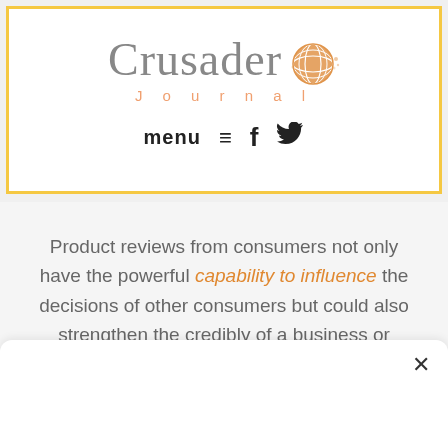Crusader Journal
menu ≡  f  🐦
Product reviews from consumers not only have the powerful capability to influence the decisions of other consumers but could also strengthen the credibly of a business or company. Additionally, consumer reviews